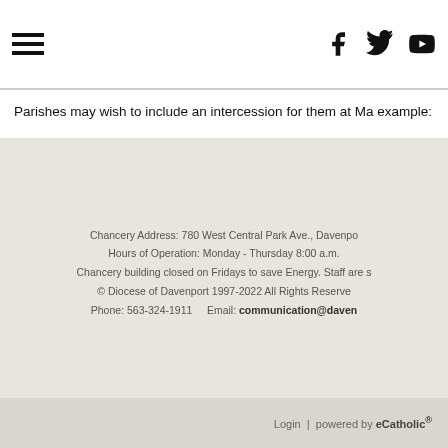[hamburger menu icon] [Facebook icon] [Twitter icon] [YouTube icon]
Parishes may wish to include an intercession for them at Ma example:
For the members of Deacon Class 8 and their families, that t grow strong in their hearts, and that they would witness to i pray to the Lord.
Chancery Address: 780 West Central Park Ave., Davenpo Hours of Operation: Monday - Thursday 8:00 a.m. Chancery building closed on Fridays to save Energy. Staff are s © Diocese of Davenport 1997-2022 All Rights Reserve Phone: 563-324-1911   Email: communication@daven
Login | powered by eCatholic®